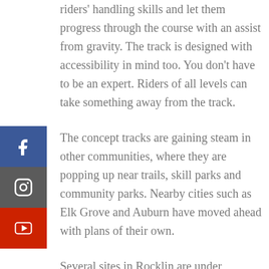riders' handling skills and let them progress through the course with an assist from gravity. The track is designed with accessibility in mind too. You don't have to be an expert. Riders of all levels can take something away from the track.
The concept tracks are gaining steam in other communities, where they are popping up near trails, skill parks and community parks. Nearby cities such as Elk Grove and Auburn have moved ahead with plans of their own.
Several sites in Rocklin are under consideration for the new recreation track including Margaret Azevedo, Johnson-Springview, Twins Oaks and Whitney